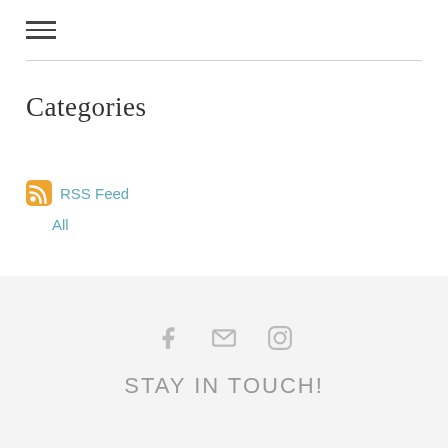[Figure (other): Hamburger menu icon with three horizontal lines]
Categories
All
RSS Feed
[Figure (other): Social media icons: Facebook, Email, Instagram]
STAY IN TOUCH!